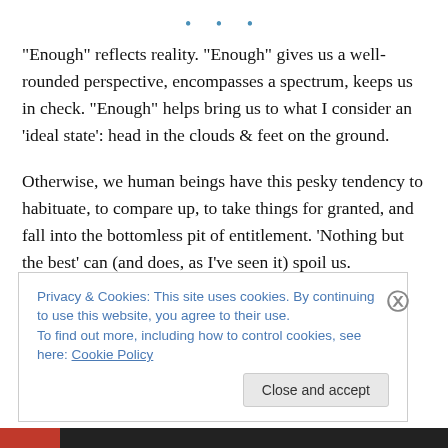• • •
“Enough” reflects reality. “Enough” gives us a well-rounded perspective, encompasses a spectrum, keeps us in check. “Enough” helps bring us to what I consider an ‘ideal state’: head in the clouds & feet on the ground.
Otherwise, we human beings have this pesky tendency to habituate, to compare up, to take things for granted, and fall into the bottomless pit of entitlement. ‘Nothing but the best’ can (and does, as I’ve seen it) spoil us.
Privacy & Cookies: This site uses cookies. By continuing to use this website, you agree to their use.
To find out more, including how to control cookies, see here: Cookie Policy